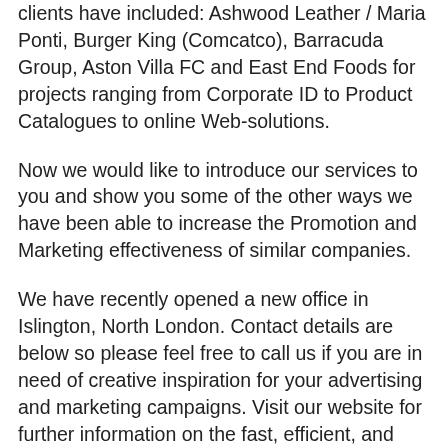clients have included: Ashwood Leather / Maria Ponti, Burger King (Comcatco), Barracuda Group, Aston Villa FC and East End Foods for projects ranging from Corporate ID to Product Catalogues to online Web-solutions.
Now we would like to introduce our services to you and show you some of the other ways we have been able to increase the Promotion and Marketing effectiveness of similar companies.
We have recently opened a new office in Islington, North London. Contact details are below so please feel free to call us if you are in need of creative inspiration for your advertising and marketing campaigns. Visit our website for further information on the fast, efficient, and cost effective services we